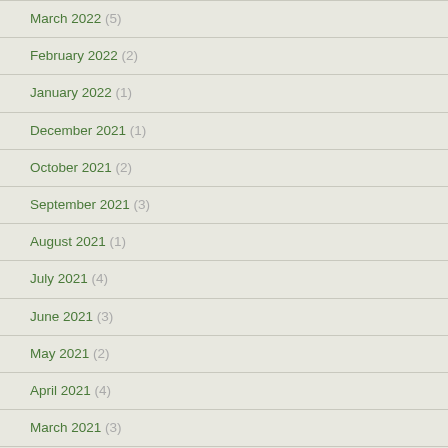March 2022 (5)
February 2022 (2)
January 2022 (1)
December 2021 (1)
October 2021 (2)
September 2021 (3)
August 2021 (1)
July 2021 (4)
June 2021 (3)
May 2021 (2)
April 2021 (4)
March 2021 (3)
February 2021 (1)
January 2021 (2)
December 2020 (2)